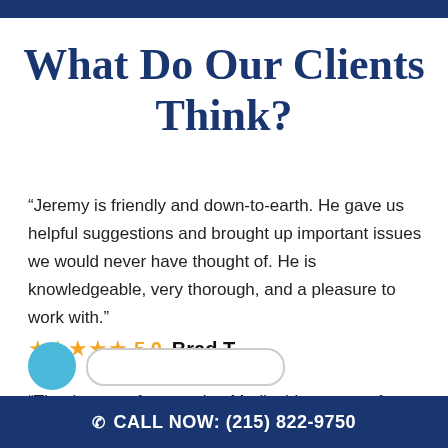What Do Our Clients Think?
“Jeremy is friendly and down-to-earth. He gave us helpful suggestions and brought up important issues we would never have thought of. He is knowledgeable, very thorough, and a pleasure to work with.”
★★★★★ 5.0  Brad T.
“Thank you.... for securing Medicaid coverage for my
CALL NOW: (215) 822-9750